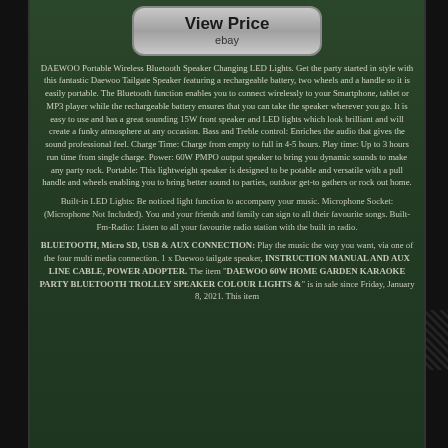[Figure (screenshot): View Price button for eBay listing]
DAEWOO Portable Wireless Bluetooth Speaker Changing LED Lights. Get the party started in style with this fantastic Daewoo Tailgate Speaker featuring a rechargeable battery, two wheels and a handle so it is easily portable. The Bluetooth function enables you to connect wirelessly to your Smartphone, tablet or MP3 player while the rechargeable battery ensures that you can take the speaker wherever you go. It is easy to use and has a great sounding 15W front speaker and LED lights which look brilliant and will create a funky atmosphere at any occasion. Bass and Treble control: Enriches the audio that gives the sound professional feel. Charge Time: Charge from empty to full in 4-5 hours. Play time: Up to 3 hours run time from single charge. Power: 60W PMPO output speaker to bring you dynamic sounds to make any party rock. Portable: This lightweight speaker is designed to be potable and versatile with a pull handle and wheels enabling you to bring better sound to parties, outdoor get-to gathers or rock out home.
Built-in LED Lights: Be noticed light function to accompany your music. Microphone Socket: (Microphone Not Included). You and your friends and family can sign to all their favourite songs. Built-Fm-Radio: Listen to all your favourite radio station with the built in radio.
BLUETOOTH, Micro SD, USB & AUX CONNECTION: Play the music the way you want, via one of the four multi media connection. 1 x Daewoo tailgate speaker, INSTRUCTION MANUAL AND AUX LINE CABLE, POWER ADOPTER. The item "DAEWOO 60W HOME GARDEN KARAOKE PARTY BLUETOOTH TROLLEY SPEAKER COLOUR LIGHTS &" is in sale since Friday, January 8, 2021. This item